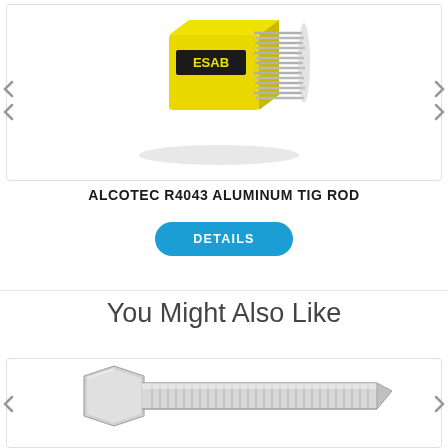[Figure (photo): ESAB branded yellow box of Alcotec R4043 aluminum TIG welding rods, shown at an angle with rods visible on the right side]
ALCOTEC R4043 ALUMINUM TIG ROD
DETAILS
You Might Also Like
[Figure (photo): Silver hex-head bolt with threaded shaft, shown horizontally on white background]